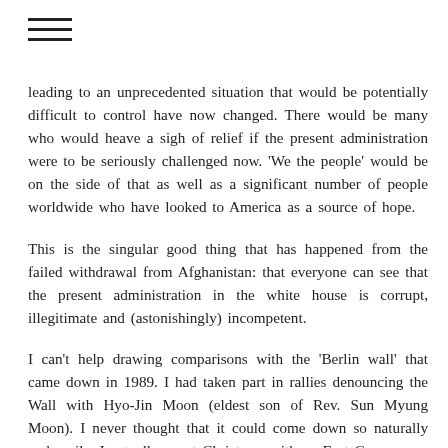≡
leading to an unprecedented situation that would be potentially difficult to control have now changed. There would be many who would heave a sigh of relief if the present administration were to be seriously challenged now. 'We the people' would be on the side of that as well as a significant number of people worldwide who have looked to America as a source of hope.
This is the singular good thing that has happened from the failed withdrawal from Afghanistan: that everyone can see that the present administration in the white house is corrupt, illegitimate and (astonishingly) incompetent.
I can't help drawing comparisons with the 'Berlin wall' that came down in 1989. I had taken part in rallies denouncing the Wall with Hyo-Jin Moon (eldest son of Rev. Sun Myung Moon). I never thought that it could come down so naturally and easily. I actually spent Christmas with an East German